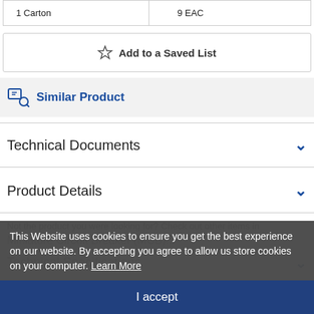| 1 Carton | 9 EAC |
☆ Add to a Saved List
Similar Product
Technical Documents
Product Details
Not the product you were looking for? Check out other items in
Technical Specifications
This Website uses cookies to ensure you get the best experience on our website. By accepting you agree to allow us store cookies on your computer. Learn More
I accept